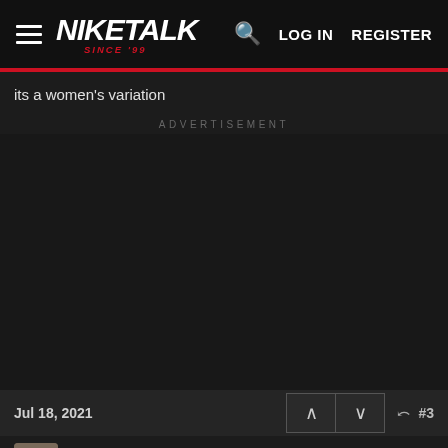NIKETALK SINCE 99 — LOG IN  REGISTER
its a women's variation
ADVERTISEMENT
Jul 18, 2021  #3
Marloes